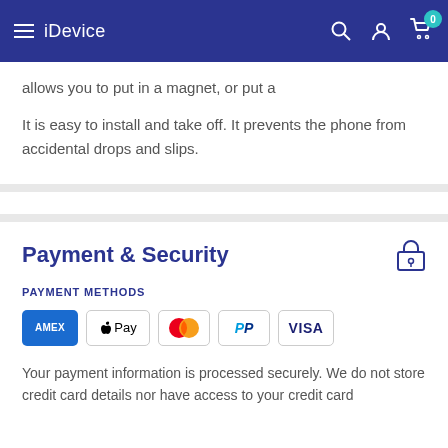iDevice
allows you to put in a magnet, or put a
It is easy to install and take off. It prevents the phone from accidental drops and slips.
Payment & Security
PAYMENT METHODS
[Figure (logo): Payment method logos: American Express, Apple Pay, Mastercard, PayPal, Visa]
Your payment information is processed securely. We do not store credit card details nor have access to your credit card